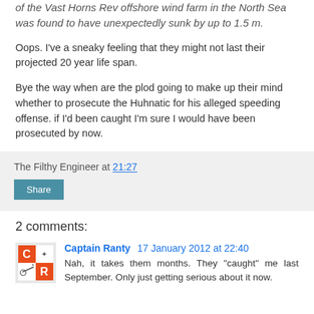of the Vast Horns Rev offshore wind farm in the North Sea was found to have unexpectedly sunk by up to 1.5 m.
Oops. I've a sneaky feeling that they might not last their projected 20 year life span.
Bye the way when are the plod going to make up their mind whether to prosecute the Huhnatic for his alleged speeding offense. if I'd been caught I'm sure I would have been prosecuted by now.
The Filthy Engineer at 21:27
Share
2 comments:
Captain Ranty 17 January 2012 at 22:40
Nah, it takes them months. They "caught" me last September. Only just getting serious about it now.